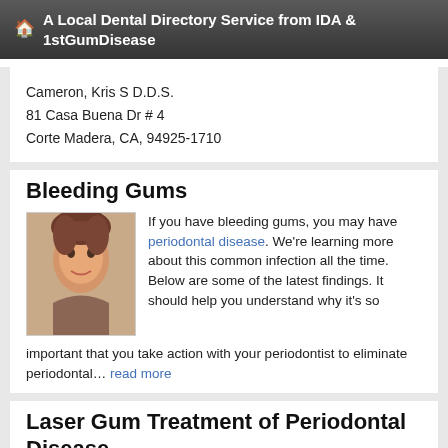A Local Dental Directory Service from IDA & 1stGumDisease
Cameron, Kris S D.D.S.
81 Casa Buena Dr # 4
Corte Madera, CA, 94925-1710
Bleeding Gums
If you have bleeding gums, you may have periodontal disease. We're learning more about this common infection all the time. Below are some of the latest findings. It should help you understand why it's so important that you take action with your periodontist to eliminate periodontal… read more
[Figure (photo): Photo of a smiling woman with brown hair]
Laser Gum Treatment of Periodontal Disease
Periodontal disease is a leading cause of adult tooth loss in the U.S. today. It can progress destructively, often unnoticed, just like
[Figure (photo): Photo of a couple, a man and woman]